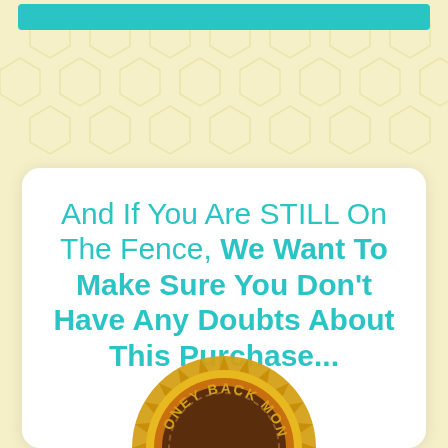[Figure (illustration): Top teal horizontal bar and yellow honeycomb patterned background]
And If You Are STILL On The Fence, We Want To Make Sure You Don't Have Any Doubts About This Purchase...
[Figure (illustration): Money back guarantee gold seal/badge, partially visible at bottom]